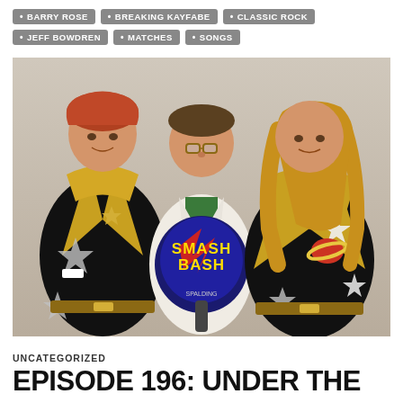BARRY ROSE
BREAKING KAYFABE
CLASSIC ROCK
JEFF BOWDREN
MATCHES
SONGS
[Figure (photo): Three people posing together. Two men on the left and right are wearing black sparkly wrestling costumes with gold stars and gold sequined lapels. The man in the center is wearing a white blazer with a green shirt. The center person is holding a Spalding 'Smash Bash' paddle/ball toy. The photo appears to be from the late 1980s or early 1990s.]
UNCATEGORIZED
EPISODE 196: UNDER THE